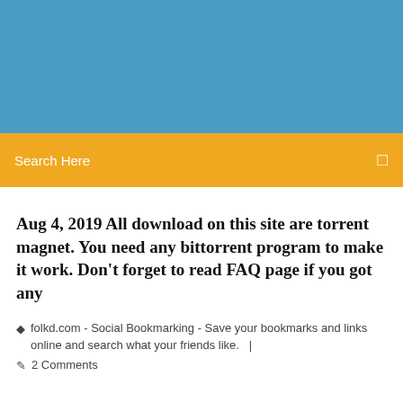[Figure (screenshot): Blue header banner background]
Search Here
Aug 4, 2019 All download on this site are torrent magnet. You need any bittorrent program to make it work. Don't forget to read FAQ page if you got any
folkd.com - Social Bookmarking - Save your bookmarks and links online and search what your friends like.  |
2 Comments